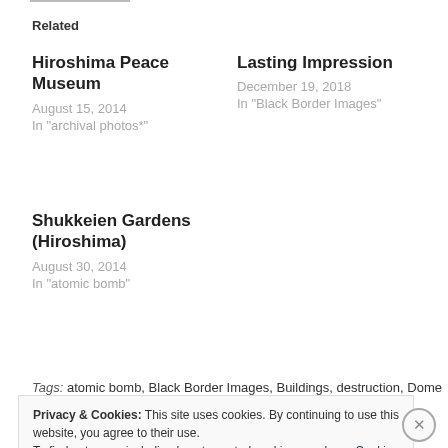Related
Hiroshima Peace Museum
August 15, 2014
In "archival photos*"
Lasting Impression
December 19, 2018
In "Black Border Images"
Shukkeien Gardens (Hiroshima)
August 30, 2014
In "atomic bomb"
Tags: atomic bomb, Black Border Images, Buildings, destruction, Dome
Privacy & Cookies: This site uses cookies. By continuing to use this website, you agree to their use.
To find out more, including how to control cookies, see here: Cookie Policy